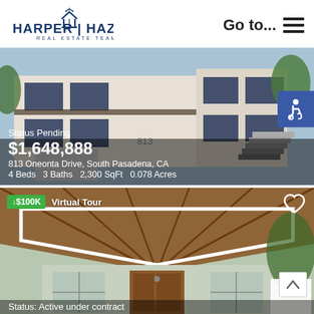[Figure (logo): Harper Hazdovac Real Estate Team logo with house icon and stylized HH letters]
Go to...  ☰
[Figure (photo): White stucco two-story residential building with Spanish-style roof tiles and dark framed windows, exterior staircase visible. Status Pending listing.]
Status Pending
$1,648,888
813 Oneonta Drive, South Pasadena, CA
4 Beds  3 Baths  2,300 SqFt  0.078 Acres
[Figure (photo): Interior/exterior view of a mid-century home showing a vaulted carport ceiling with wood beams and a front entrance with a wood door. Virtual Tour available. Price dropped $100K.]
↓$100K  Virtual Tour
Status: Active under contract